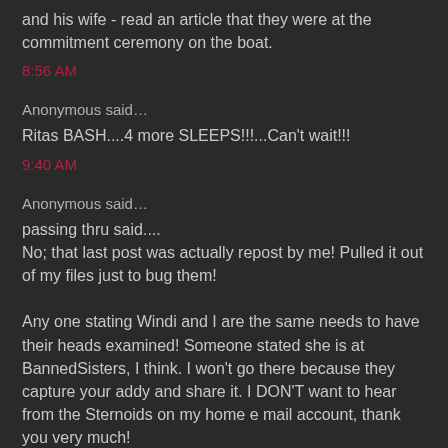and his wife - read an article that they were at the commitment ceremony on the boat.
8:56 AM
Anonymous said…
Ritas BASH....4 more SLEEPS!!!...Can't wait!!!
9:40 AM
Anonymous said…
passing thru said....
No; that last post was actually repost by me! Pulled it out of my files just to bug them!

Any one stating Windi and I are the same needs to have their heads examined! Someone stated she is at BannedSisters, I think. I won't go there because they capture your addy and share it. I DON'T want to hear from the Sternoids on my home e mail account, thank you very much!